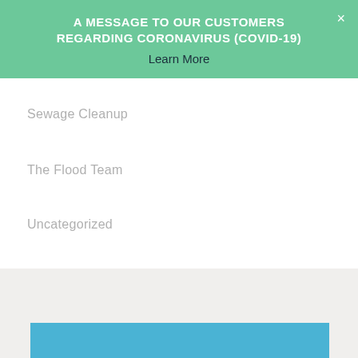A MESSAGE TO OUR CUSTOMERS REGARDING CORONAVIRUS (COVID-19)
Learn More
Sewage Cleanup
The Flood Team
Uncategorized
Water Damage